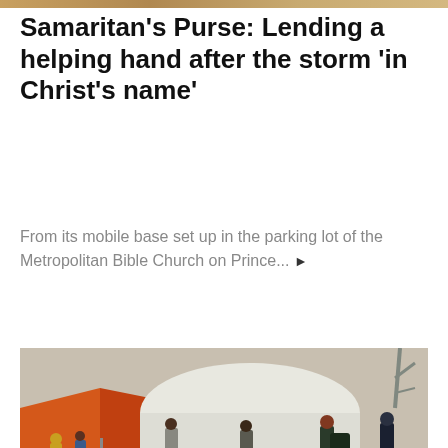[Figure (photo): Cropped top edge of a photo, appearing as a narrow strip at the top of the page]
Samaritan's Purse: Lending a helping hand after the storm 'in Christ's name'
From its mobile base set up in the parking lot of the Metropolitan Bible Church on Prince... ▶
[Figure (photo): Outdoor scene showing people, including a child in a pink coat, walking toward a large white tent near an orange structure. A 'NEWSROOM' badge is overlaid at the bottom left.]
Haldimand County nurse returning to Ukraine for 2nd deployment to help